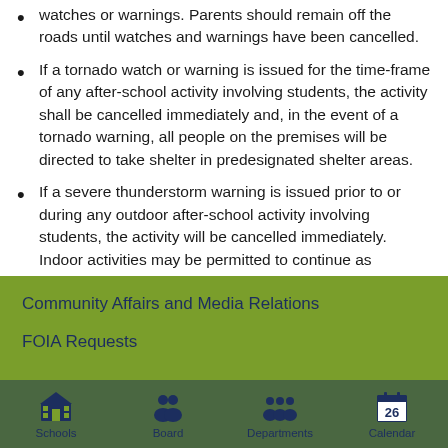watches or warnings. Parents should remain off the roads until watches and warnings have been cancelled.
If a tornado watch or warning is issued for the time-frame of any after-school activity involving students, the activity shall be cancelled immediately and, in the event of a tornado warning, all people on the premises will be directed to take shelter in predesignated shelter areas.
If a severe thunderstorm warning is issued prior to or during any outdoor after-school activity involving students, the activity will be cancelled immediately. Indoor activities may be permitted to continue as scheduled.
Community Affairs and Media Relations
FOIA Requests
Schools | Board | Departments | Calendar